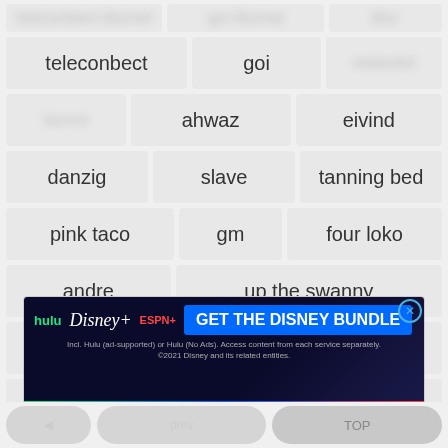teleconbect
goi
ahwaz
eivind
danzig
slave
tanning bed
pink taco
gm
four loko
andre
up the swanny
buckling
librural
pervail
hood smack
camaro
poob
vancouverite
czech republic
[Figure (screenshot): Disney Bundle advertisement banner with Hulu, Disney+, ESPN+ logos and GET THE DISNEY BUNDLE CTA button]